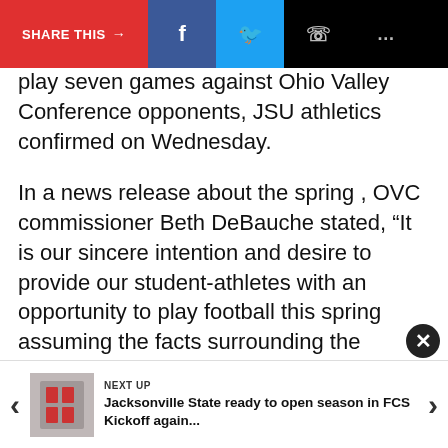[Figure (screenshot): Social share bar with SHARE THIS button (red), Facebook (blue), Twitter (light blue), WhatsApp, and more options icons on black background]
2021 Sp... noncon... play seven games against Ohio Valley Conference opponents, JSU athletics confirmed on Wednesday.
In a news release about the spring , OVC commissioner Beth DeBauche stated, “It is our sincere intention and desire to provide our student-athletes with an opportunity to play football this spring assuming the facts surrounding the pandemic support it. We are excited to have plans and a schedule in place for it helps to create a sense of certainty during these uncertain times.”
Every week of JSU football — with the exception of East...
[Figure (screenshot): Next Up navigation bar with previous arrow, thumbnail image, article title 'Jacksonville State ready to open season in FCS Kickoff again...' and next arrow]